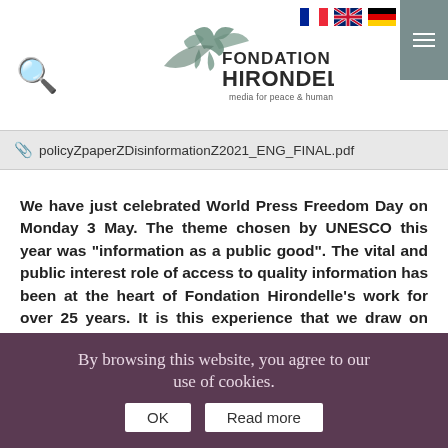[Figure (logo): Fondation Hirondelle logo with swallow bird graphic and tagline 'media for peace & human dignity']
policyZpaperZDisinformationZ2021_ENG_FINAL.pdf
We have just celebrated World Press Freedom Day on Monday 3 May. The theme chosen by UNESCO this year was "information as a public good". The vital and public interest role of access to quality information has been at the heart of Fondation Hirondelle's work for over 25 years. It is this experience that we draw on today to explain our approach to responding to disinformation, a plague that
By browsing this website, you agree to our use of cookies. OK Read more